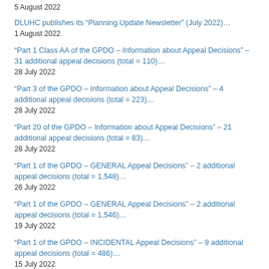5 August 2022
DLUHC publishes its “Planning Update Newsletter” (July 2022)…
1 August 2022
“Part 1 Class AA of the GPDO – Information about Appeal Decisions” – 31 additional appeal decisions (total = 110)…
28 July 2022
“Part 3 of the GPDO – Information about Appeal Decisions” – 4 additional appeal decisions (total = 223)…
28 July 2022
“Part 20 of the GPDO – Information about Appeal Decisions” – 21 additional appeal decisions (total = 83)…
28 July 2022
“Part 1 of the GPDO – GENERAL Appeal Decisions” – 2 additional appeal decisions (total = 1,548)…
26 July 2022
“Part 1 of the GPDO – GENERAL Appeal Decisions” – 2 additional appeal decisions (total = 1,546)…
19 July 2022
“Part 1 of the GPDO – INCIDENTAL Appeal Decisions” – 9 additional appeal decisions (total = 486)…
15 July 2022